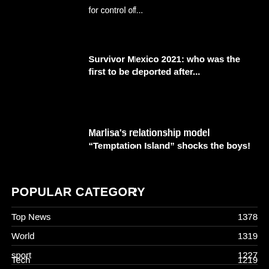for control of...
Survivor Mexico 2021: who was the first to be deported after...
Marlisa's relationship model “Temptation Island” shocks the boys!
POPULAR CATEGORY
Top News  1378
World  1319
sport  1227
Tech  1219